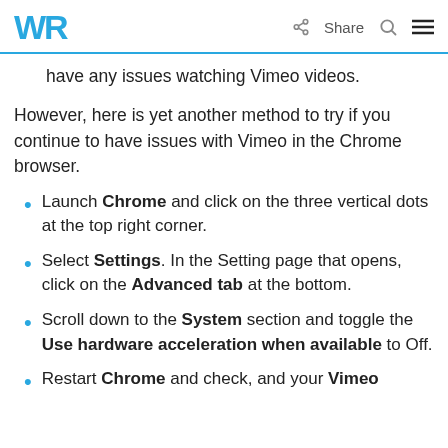WR  Share  [search] [menu]
have any issues watching Vimeo videos.
However, here is yet another method to try if you continue to have issues with Vimeo in the Chrome browser.
Launch Chrome and click on the three vertical dots at the top right corner.
Select Settings. In the Setting page that opens, click on the Advanced tab at the bottom.
Scroll down to the System section and toggle the Use hardware acceleration when available to Off.
Restart Chrome and check, and your Vimeo